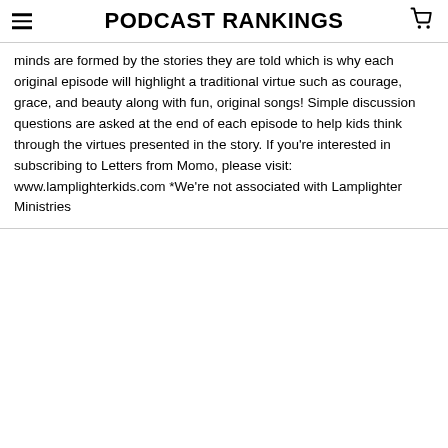PODCAST RANKINGS
minds are formed by the stories they are told which is why each original episode will highlight a traditional virtue such as courage, grace, and beauty along with fun, original songs! Simple discussion questions are asked at the end of each episode to help kids think through the virtues presented in the story. If you're interested in subscribing to Letters from Momo, please visit: www.lamplighterkids.com *We're not associated with Lamplighter Ministries